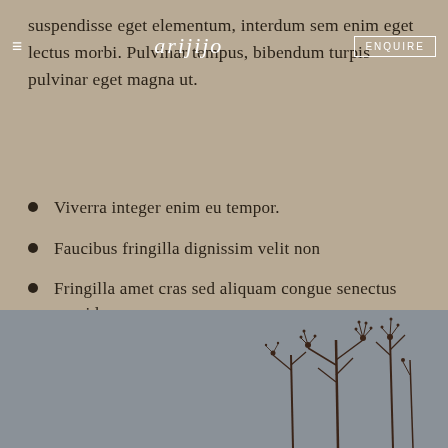≡  arijijo  ENQUIRE
suspendisse eget elementum, interdum sem enim eget lectus morbi. Pulvinar tempus, bibendum turpis pulvinar eget magna ut.
Viverra integer enim eu tempor.
Faucibus fringilla dignissim velit non
Fringilla amet cras sed aliquam congue senectus gravida
Etiam iaculis augue iaculis velit
Elementum scelerisque vestibulum sed nunc
[Figure (photo): Bottom section showing a grey/blue sky background with silhouettes of tall wild plants with spindly branches against the sky.]